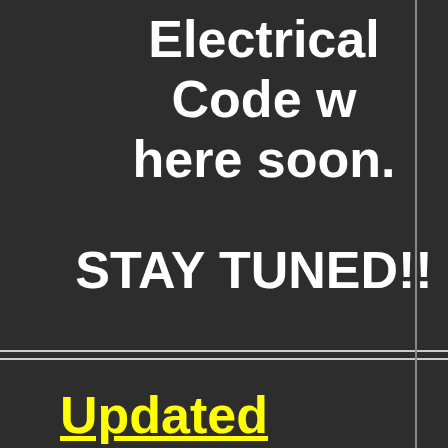Electrical Code w here soon.
STAY TUNED!!
Updated Informa